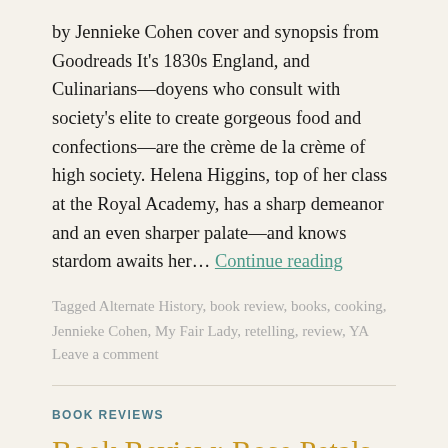by Jennieke Cohen cover and synopsis from Goodreads It's 1830s England, and Culinarians—doyens who consult with society's elite to create gorgeous food and confections—are the crème de la crème of high society. Helena Higgins, top of her class at the Royal Academy, has a sharp demeanor and an even sharper palate—and knows stardom awaits her… Continue reading
Tagged Alternate History, book review, books, cooking, Jennieke Cohen, My Fair Lady, retelling, review, YA
Leave a comment
BOOK REVIEWS
Book Review: Rose Petals and Snowflakes